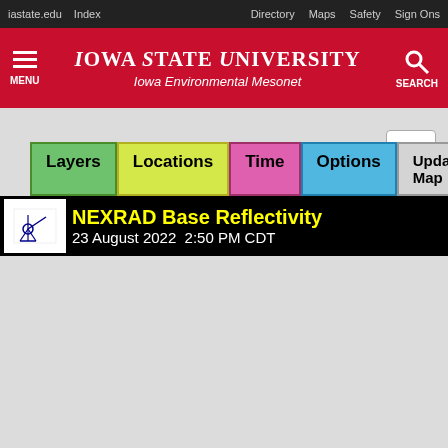iastate.edu  Index  Directory  Maps  Safety  Sign Ons
IOWA STATE UNIVERSITY
Iowa Environmental Mesonet
[Figure (screenshot): Iowa State University Iowa Environmental Mesonet web interface showing navigation tabs (Layers, Locations, Time, Options, Update Map, Auto) and a NEXRAD Base Reflectivity banner dated 23 August 2022 2:50 PM CDT]